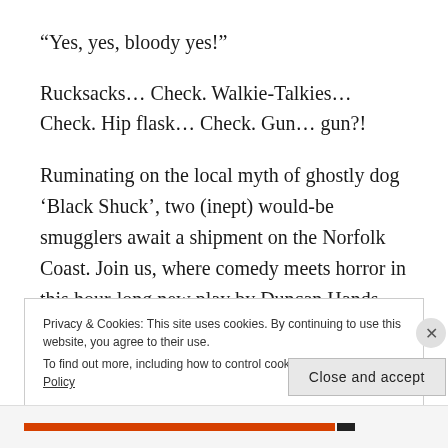“Yes, yes, bloody yes!”
Rucksacks… Check. Walkie-Talkies… Check. Hip flask… Check. Gun… gun?!
Ruminating on the local myth of ghostly dog ‘Black Shuck’, two (inept) would-be smugglers await a shipment on the Norfolk Coast. Join us, where comedy meets horror in this hour-long new play by Duncan Hands.
Privacy & Cookies: This site uses cookies. By continuing to use this website, you agree to their use. To find out more, including how to control cookies, see here: Cookie Policy